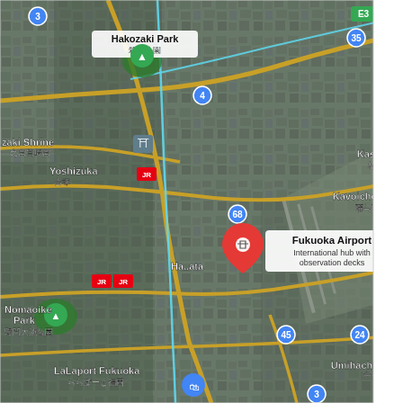[Figure (map): Google Maps satellite view centered on Fukuoka Airport, Japan. Shows aerial imagery with labeled landmarks including Hakozaki Park (箱崎公園), Kasuya (柏屋町), Kavoicho Park (蒲与丁公園), Yoshizuka (吉塚) with JR station marker, Umihachiman (宇美八幡), LaLaport Fukuoka (ららぽーと福岡), Nomaoike Park (野間大池公園), DAIKYO Value @ YANAGA (キョーバリュー弥永店), Kasugabaru (春日原), Kasuga (春日), Hakozaki Shrine (一之宮筥崎宮), Hakata station area. Route numbers visible: 3, 4, 24, 31, 35, 45, 60, 68, 112, 577, E3. A red location pin marks Fukuoka Airport with tooltip 'Fukuoka Airport International hub with observation decks'. Blue shopping cart pin for DAIKYO Value. Green tree pins for Hakozaki Park and Nomaoike Park. Blue shopping bag pin for LaLaport Fukuoka. JR train station icons visible. Road network shown in gold/yellow for major roads and white/cyan for transit lines.]